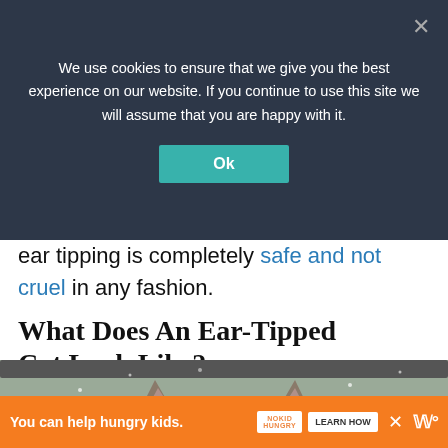We use cookies to ensure that we give you the best experience on our website. If you continue to use this site we will assume that you are happy with it.
ear tipping is completely safe and not cruel in any fashion.
What Does An Ear-Tipped Cat Look Like?
[Figure (photo): Photo of a cat peeking over an edge, showing the top of its head and ears. A 'What's Next' overlay in the top right shows a thumbnail and text 'Can A Fox Breed With ...']
You can help hungry kids. | NOKID HUNGRY | LEARN HOW